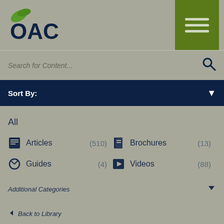[Figure (logo): OAC logo with green leaf and dark blue text]
Search for Content...
Sort By:
All
Articles (510)
Brochures (13)
Guides (4)
Videos (88)
Additional Categories
Back to Library